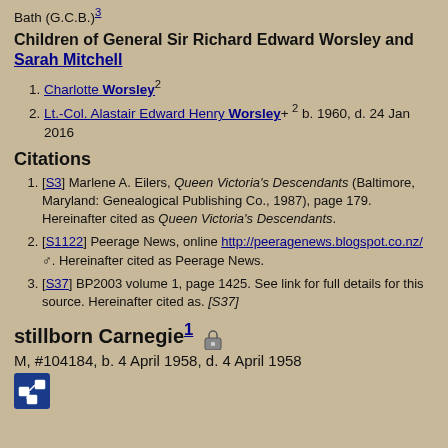Bath (G.C.B.)³
Children of General Sir Richard Edward Worsley and Sarah Mitchell
Charlotte Worsley²
Lt.-Col. Alastair Edward Henry Worsley+² b. 1960, d. 24 Jan 2016
Citations
[S3] Marlene A. Eilers, Queen Victoria's Descendants (Baltimore, Maryland: Genealogical Publishing Co., 1987), page 179. Hereinafter cited as Queen Victoria's Descendants.
[S1122] Peerage News, online http://peeragenews.blogspot.co.nz/. Hereinafter cited as Peerage News.
[S37] BP2003 volume 1, page 1425. See link for full details for this source. Hereinafter cited as. [S37]
stillborn Carnegie¹
M, #104184, b. 4 April 1958, d. 4 April 1958